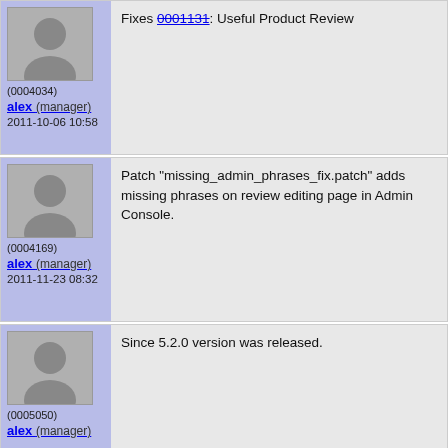Fixes 0001131: Useful Product Review
(0004034)
alex (manager)
2011-10-06 10:58
Patch "missing_admin_phrases_fix.patch" adds missing phrases on review editing page in Admin Console.
(0004169)
alex (manager)
2011-11-23 08:32
Since 5.2.0 version was released.
(0005050)
alex (manager)